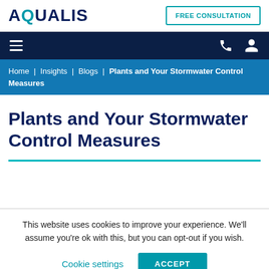AQUALIS | FREE CONSULTATION
[Figure (screenshot): Navigation bar with hamburger menu icon, phone icon, and user account icon on dark navy background]
Home | Insights | Blogs | Plants and Your Stormwater Control Measures
Plants and Your Stormwater Control Measures
This website uses cookies to improve your experience. We'll assume you're ok with this, but you can opt-out if you wish.
Cookie settings | ACCEPT